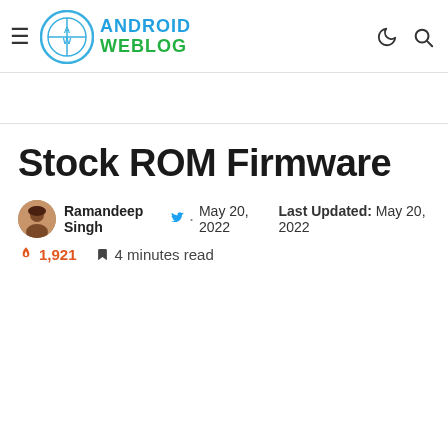Android Weblog — hamburger menu, logo, moon icon, search icon
Stock ROM Firmware
Ramandeep Singh · May 20, 2022  Last Updated: May 20, 2022
🔥 1,921  🔖 4 minutes read